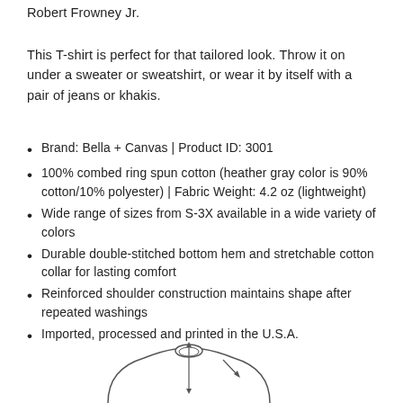Robert Frowney Jr.
This T-shirt is perfect for that tailored look. Throw it on under a sweater or sweatshirt, or wear it by itself with a pair of jeans or khakis.
Brand: Bella + Canvas | Product ID: 3001
100% combed ring spun cotton (heather gray color is 90% cotton/10% polyester) | Fabric Weight: 4.2 oz (lightweight)
Wide range of sizes from S-3X available in a wide variety of colors
Durable double-stitched bottom hem and stretchable cotton collar for lasting comfort
Reinforced shoulder construction maintains shape after repeated washings
Imported, processed and printed in the U.S.A.
[Figure (illustration): Line drawing of a T-shirt showing collar and shoulder area with measurement arrows]